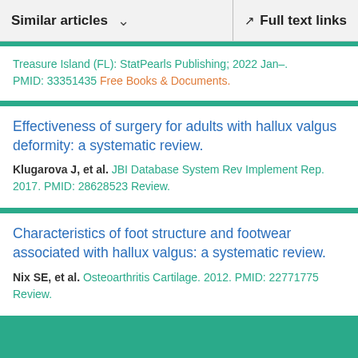Similar articles  Full text links
Treasure Island (FL): StatPearls Publishing; 2022 Jan–. PMID: 33351435 Free Books & Documents.
Effectiveness of surgery for adults with hallux valgus deformity: a systematic review. Klugarova J, et al. JBI Database System Rev Implement Rep. 2017. PMID: 28628523 Review.
Characteristics of foot structure and footwear associated with hallux valgus: a systematic review. Nix SE, et al. Osteoarthritis Cartilage. 2012. PMID: 22771775 Review.